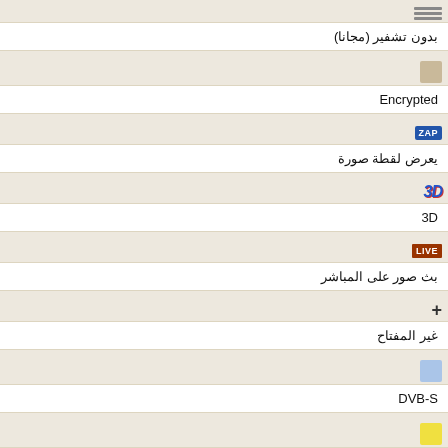[Figure (infographic): Hamburger/menu icon (three horizontal gray lines)]
بدون تشفير (مجانا)
[Figure (infographic): Beige/tan colored square icon]
Encrypted
[Figure (infographic): ZAP label badge (blue background, white text)]
يعرض لقطة صورة
[Figure (infographic): 3D label in blue and red italic bold text]
3D
[Figure (infographic): LIVE badge (dark red/brown background, white text)]
بث صور على المباشر
[Figure (infographic): Plus sign (+) icon]
غير المفتاح
[Figure (infographic): Light blue square icon]
DVB-S
[Figure (infographic): Yellow square icon]
DVB-S2